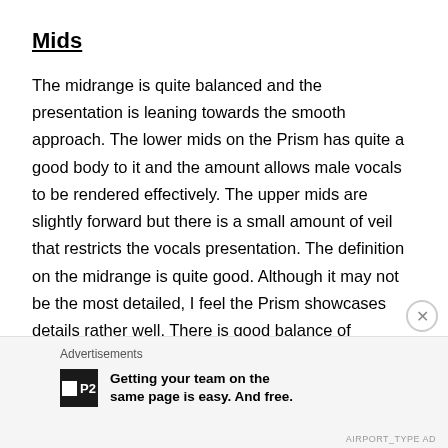Mids
The midrange is quite balanced and the presentation is leaning towards the smooth approach. The lower mids on the Prism has quite a good body to it and the amount allows male vocals to be rendered effectively. The upper mids are slightly forward but there is a small amount of veil that restricts the vocals presentation. The definition on the midrange is quite good. Although it may not be the most detailed, I feel the Prism showcases details rather well. There is good balance of musicality and technicality. The midrange is smooth and
Advertisements
Getting your team on the same page is easy. And free.